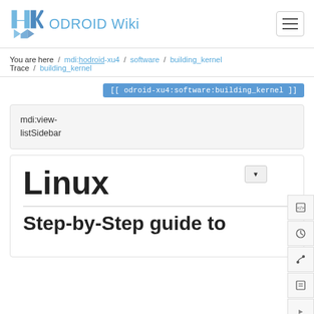ODROID Wiki
You are here / mdi:hodroid-xu4 / software / building_kernel Trace / building_kernel
[[ odroid-xu4:software:building_kernel ]]
mdi:view-listSidebar
Linux
Step-by-Step guide to